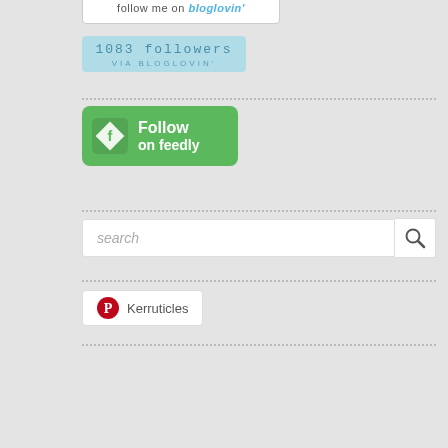[Figure (screenshot): Partially cropped 'Follow me on bloglovin' button at the top]
1083 followers VIA BLOGLOVIN'
[Figure (screenshot): Green 'Follow on feedly' button with Feedly logo]
[Figure (screenshot): Search input box with magnifying glass icon]
[Figure (screenshot): Pinterest badge with Pinterest logo and 'Kerruticles' text]